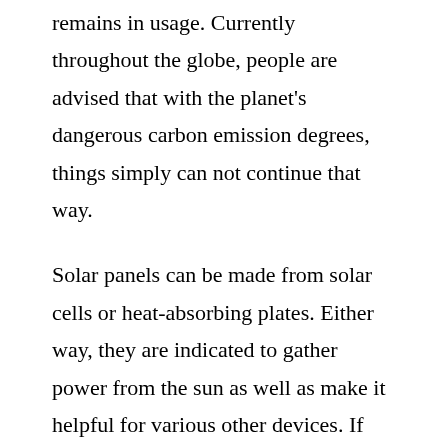remains in usage. Currently throughout the globe, people are advised that with the planet's dangerous carbon emission degrees, things simply can not continue that way.
Solar panels can be made from solar cells or heat-absorbing plates. Either way, they are indicated to gather power from the sun as well as make it helpful for various other devices. If you understand exactly how to use them well, then you should be obtaining them mounted in your home right now.